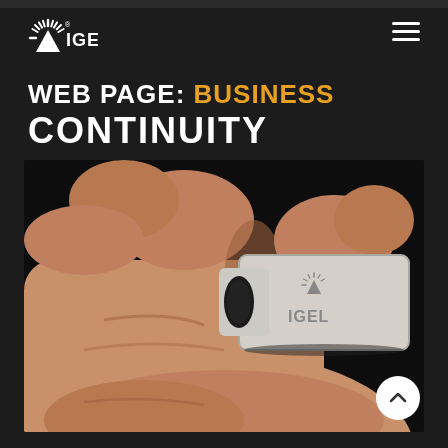[Figure (logo): IGEL logo - sunburst/hedgehog icon with IGEL text in white on dark background]
WEB PAGE: BUSINESS CONTINUITY
[Figure (photo): Close-up photograph of a hand holding a small metallic USB drive with IGEL logo engraved on it]